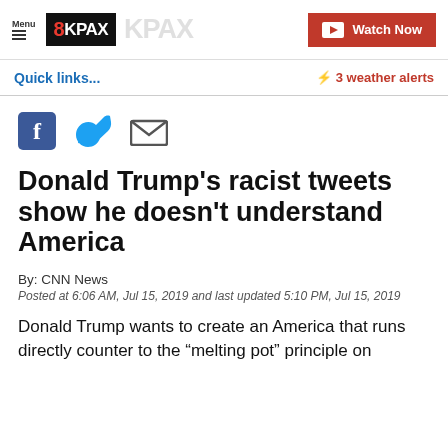Menu 8KPAX Watch Now
Quick links... ⚡ 3 weather alerts
[Figure (illustration): Social media share icons: Facebook, Twitter, and Email]
Donald Trump's racist tweets show he doesn't understand America
By: CNN News
Posted at 6:06 AM, Jul 15, 2019 and last updated 5:10 PM, Jul 15, 2019
Donald Trump wants to create an America that runs directly counter to the "melting pot" principle on